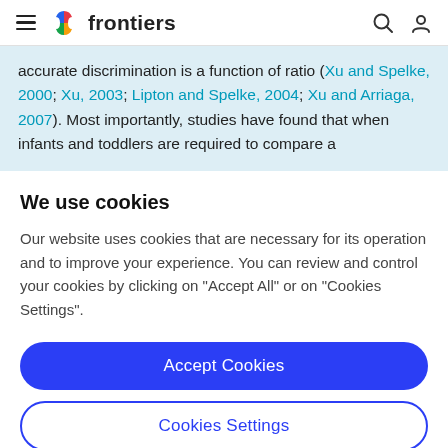frontiers
accurate discrimination is a function of ratio (Xu and Spelke, 2000; Xu, 2003; Lipton and Spelke, 2004; Xu and Arriaga, 2007). Most importantly, studies have found that when infants and toddlers are required to compare a
We use cookies
Our website uses cookies that are necessary for its operation and to improve your experience. You can review and control your cookies by clicking on "Accept All" or on "Cookies Settings".
Accept Cookies
Cookies Settings